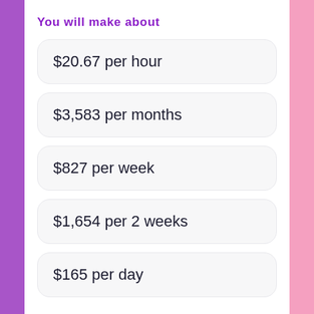You will make about
$20.67 per hour
$3,583 per months
$827 per week
$1,654 per 2 weeks
$165 per day